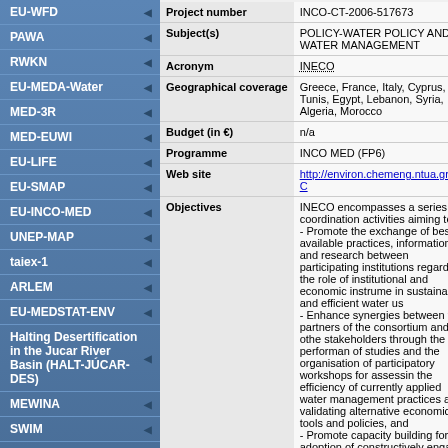EU-WFD
PAWA
RWKN
EU-MEDA-Water
MED-3R
MED-EUWI
EU-LIFE
EU-SMAP
EU-INCO-MED
UNEP-MAP
taiex-1
ARLEM
EU-MEDSTAT-ENV
Halting Desertification in the Jucar River Basin (HALT-JÚCAR-DES)
MEWINA
SWIM
EXACT
EU-FD
| Field | Value |
| --- | --- |
| Project number | INCO-CT-2006-517673 |
| Subject(s) | POLICY-WATER POLICY AND WATER MANAGEMENT |
| Acronym | INECO |
| Geographical coverage | Greece, France, Italy, Cyprus, Tunis, Egypt, Lebanon, Syria, Algeria, Morocco |
| Budget (in €) | n/a |
| Programme | INCO MED (FP6) |
| Web site | http://environ.chemeng.ntua.gr/INEC... |
| Objectives | INECO encompasses a series of coordination activities aiming to: - Promote the exchange of best available practices, information and research between participating institutions regarding the role of institutional and economic instruments in sustainable and efficient water use. - Enhance synergies between the partners of the consortium and other stakeholders through the performance of studies and the organisation of participatory workshops for assessing the efficiency of currently applied water management practices and validating alternative economic tools and policies, and - Promote capacity building for the adoption of constructively engaged Integrated Water Resources Management and with emphasis on socio-economics and policy |